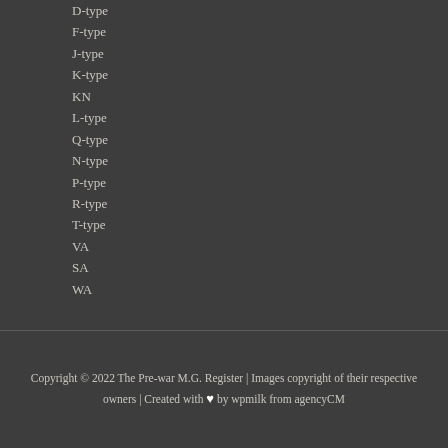D-type
F-type
J-type
K-type
KN
L-type
Q-type
N-type
P-type
R-type
T-type
VA
SA
WA
Copyright © 2022 The Pre-war M.G. Register | Images copyright of their respective owners | Created with ♥ by wpmilk from agencyCM